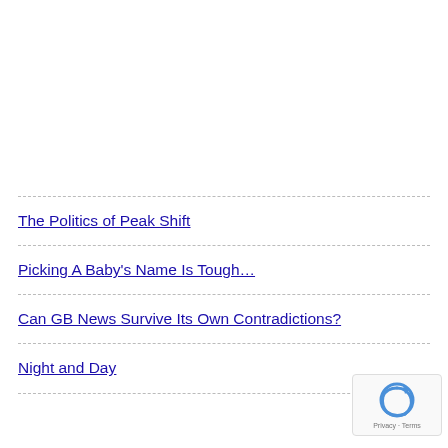The Politics of Peak Shift
Picking A Baby's Name Is Tough…
Can GB News Survive Its Own Contradictions?
Night and Day